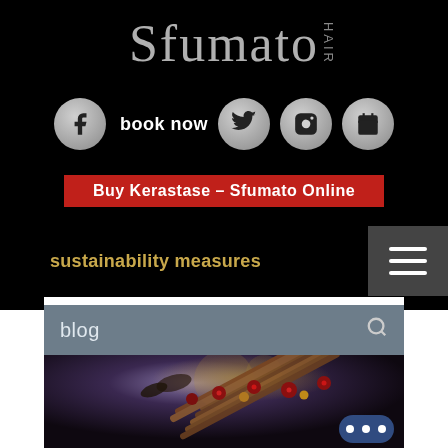Sfumato HAIR
[Figure (screenshot): Social media icons (Facebook, Twitter, Instagram, Calendar) with 'book now' text]
Buy Kerastase - Sfumato Online
sustainability measures
blog
[Figure (photo): Dark moody photo of cinnamon sticks and red berries/baubles on a dark textured background with some dried herbs/botanicals]